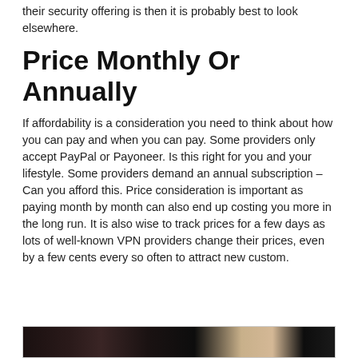their security offering is then it is probably best to look elsewhere.
Price Monthly Or Annually
If affordability is a consideration you need to think about how you can pay and when you can pay. Some providers only accept PayPal or Payoneer. Is this right for you and your lifestyle. Some providers demand an annual subscription – Can you afford this. Price consideration is important as paying month by month can also end up costing you more in the long run. It is also wise to track prices for a few days as lots of well-known VPN providers change their prices, even by a few cents every so often to attract new custom.
[Figure (photo): A dark photograph visible at the bottom of the page, partially cut off.]